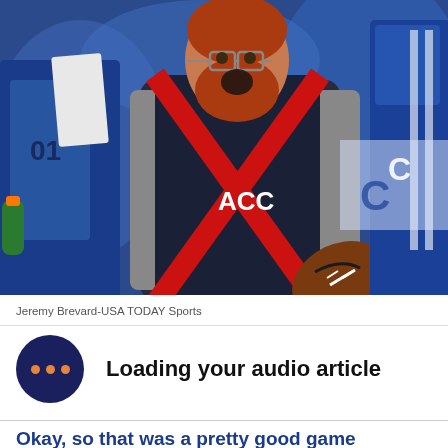[Figure (photo): A red-bearded man wearing an ACC vest with a red X pattern holds a football and reacts with an open mouth expression. He is on a football sideline surrounded by players in blue uniforms.]
Jeremy Brevard-USA TODAY Sports
Loading your audio article
Okay, so that was a pretty good game